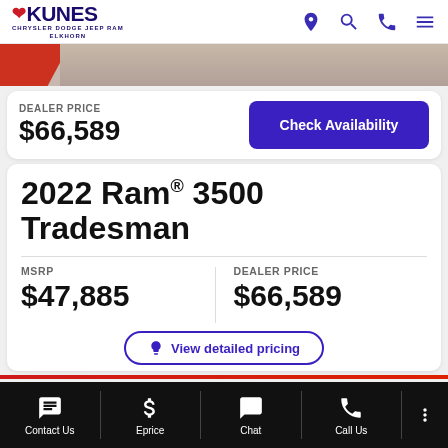Kunes Chrysler Dodge Jeep Ram Elkhorn
DEALER PRICE
$66,589
Check Availability
2022 Ram® 3500 Tradesman
MSRP
$47,885
DEALER PRICE
$66,589
View detailed pricing
Contact Us | Eprice | Chat | Call Us